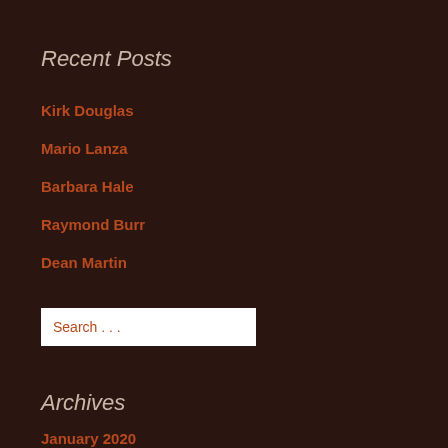Recent Posts
Kirk Douglas
Mario Lanza
Barbara Hale
Raymond Burr
Dean Martin
Search . . .
Archives
January 2020